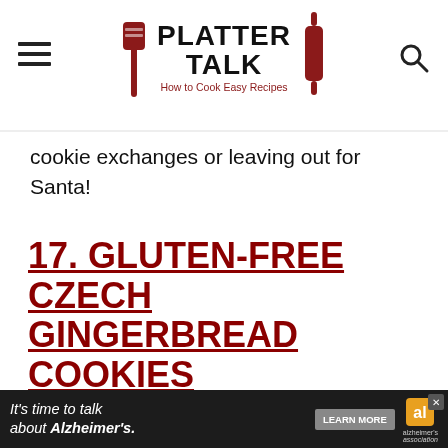PLATTER TALK - How to Cook Easy Recipes
cookie exchanges or leaving out for Santa!
17. GLUTEN-FREE CZECH GINGERBREAD COOKIES
[Figure (photo): Top-down view of decorated gingerbread cookies on a dark background]
[Figure (other): Advertisement banner: It's time to talk about Alzheimer's. LEARN MORE - Alzheimer's Association]